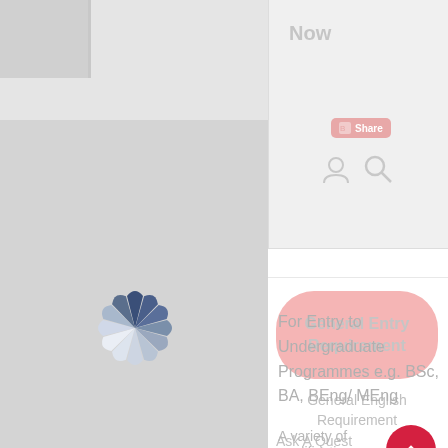[Figure (screenshot): University website screenshot showing left gray panel with spinner/loading icon and right white panel with navigation elements including Share button, user icons, General Entry Requirement button, General English Requirement link, Ask A Question link, For Entry to Undergraduate Programmes text, and A variety of qualifications text]
Now
General Entry Requirement
General English Requirement
Ask A Quest...
For Entry to Undergraduate Programmes e.g. BSc, BA, BEng/ MEng
A variety of qualifications...